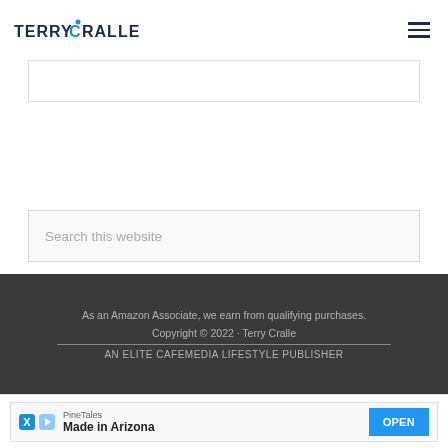TERRY CRALLE
[Figure (screenshot): Empty advertisement box at top of page]
[Figure (screenshot): Search this website input box]
As an Amazon Associate, we earn from qualifying purchases. Copyright © 2022 · Terry Cralle AN ELITE CAFEMEDIA LIFESTYLE PUBLISHER
[Figure (screenshot): Advertisement banner: PineTales - Made in Arizona - OPEN button]